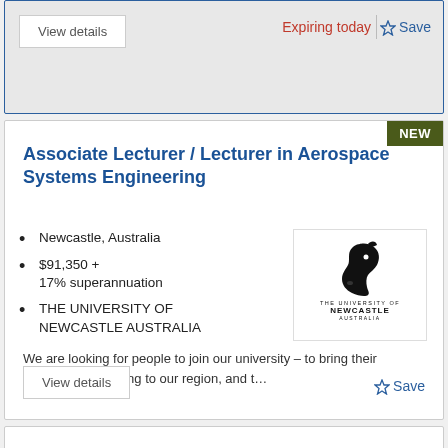View details
Expiring today
Save
Associate Lecturer / Lecturer in Aerospace Systems Engineering
Newcastle, Australia
$91,350 + 17% superannuation
THE UNIVERSITY OF NEWCASTLE AUSTRALIA
[Figure (logo): The University of Newcastle Australia logo — stylized horse head silhouette with text THE UNIVERSITY OF NEWCASTLE AUSTRALIA]
We are looking for people to join our university – to bring their exceptional teaching to our region, and t...
View details
Save